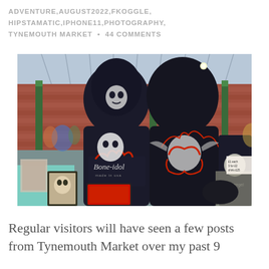ADVENTURE,AUGUST2022,FKOGGLE,HIPSTAMATIC,IPHONE11,PHOTOGRAPHY,TYNEMOUTH MARKET • 44 COMMENTS
[Figure (photo): A market stall inside a large Victorian hall with glass roof and brick walls and green iron pillars. Mannequins wearing black hooded sweatshirts with skull and 'Bone-idol' graphic designs are displayed at the stall, with various merchandise visible.]
Regular visitors will have seen a few posts from Tynemouth Market over my past 9